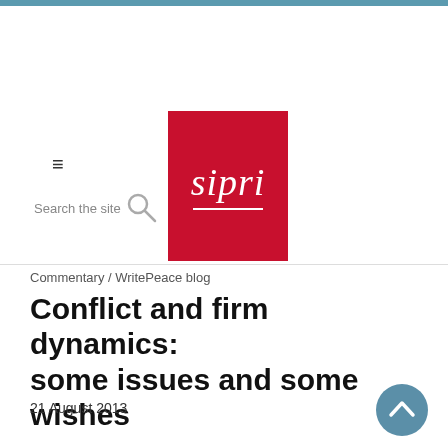[Figure (logo): SIPRI logo: red square with white italic 'sipri' text and white underline]
Commentary / WritePeace blog
Conflict and firm dynamics: some issues and some wishes
21 August 2013